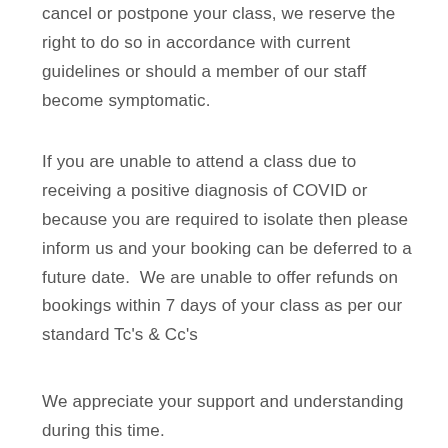cancel or postpone your class, we reserve the right to do so in accordance with current guidelines or should a member of our staff become symptomatic.
If you are unable to attend a class due to receiving a positive diagnosis of COVID or because you are required to isolate then please inform us and your booking can be deferred to a future date.  We are unable to offer refunds on bookings within 7 days of your class as per our standard Tc's & Cc's
We appreciate your support and understanding during this time.